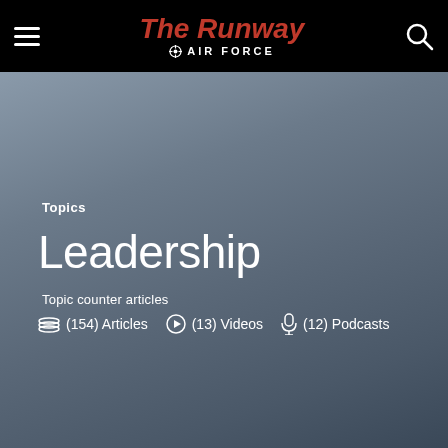The Runway AIR FORCE
Topics
Leadership
Topic counter articles
(154) Articles  (13) Videos  (12) Podcasts